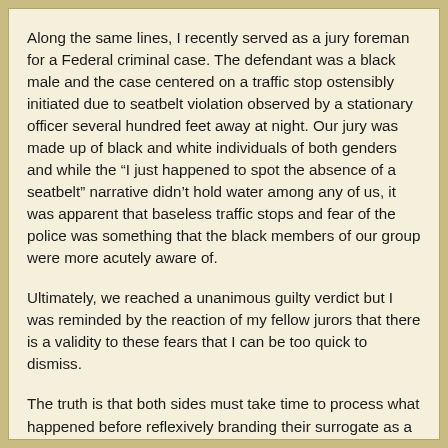Along the same lines, I recently served as a jury foreman for a Federal criminal case. The defendant was a black male and the case centered on a traffic stop ostensibly initiated due to seatbelt violation observed by a stationary officer several hundred feet away at night. Our jury was made up of black and white individuals of both genders and while the “I just happened to spot the absence of a seatbelt” narrative didn’t hold water among any of us, it was apparent that baseless traffic stops and fear of the police was something that the black members of our group were more acutely aware of.
Ultimately, we reached a unanimous guilty verdict but I was reminded by the reaction of my fellow jurors that there is a validity to these fears that I can be too quick to dismiss.
The truth is that both sides must take time to process what happened before reflexively branding their surrogate as a victim. Every black male shot by police is not an innocent bystander publicly executed by a bigoted cop and not every police officer that pulls the trigger on a black male has good defensive justification for their action. Individuals...